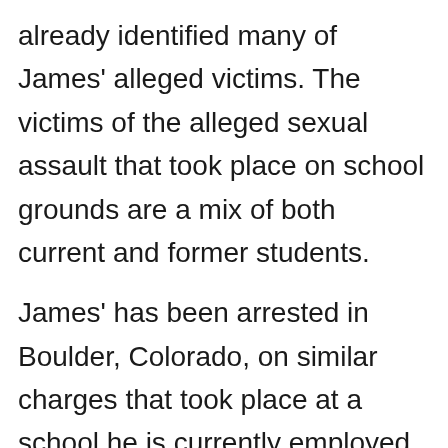already identified many of James' alleged victims. The victims of the alleged sexual assault that took place on school grounds are a mix of both current and former students.

James' has been arrested in Boulder, Colorado, on similar charges that took place at a school he is currently employed at. According to detectives in Boulder, four female victims have come forward with allegations that he touched them in an uncomfortable including